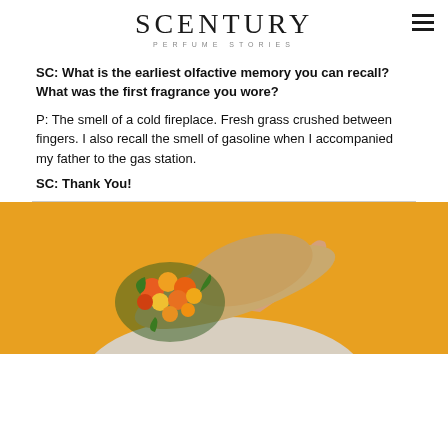SCENTURY PERFUME STORIES
SC: What is the earliest olfactive memory you can recall? What was the first fragrance you wore?
P: The smell of a cold fireplace. Fresh grass crushed between fingers. I also recall the smell of gasoline when I accompanied my father to the gas station.
SC: Thank You!
[Figure (photo): Photo of a person holding a wide-brim tan hat with orange and yellow flowers, against a golden/amber yellow background.]